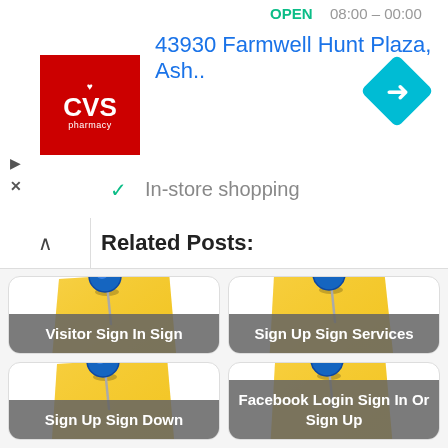[Figure (screenshot): CVS Pharmacy logo in red square with white text and heart icon]
43930 Farmwell Hunt Plaza, Ash..
OPEN
[Figure (other): Blue navigation direction diamond icon]
In-store shopping
Related Posts:
[Figure (illustration): Sticky note with blue pushpin - Visitor Sign In Sign]
[Figure (illustration): Sticky note with blue pushpin - Sign Up Sign Services]
[Figure (illustration): Sticky note with blue pushpin - Sign Up Sign Down]
[Figure (illustration): Sticky note with blue pushpin - Facebook Login Sign In Or Sign Up]